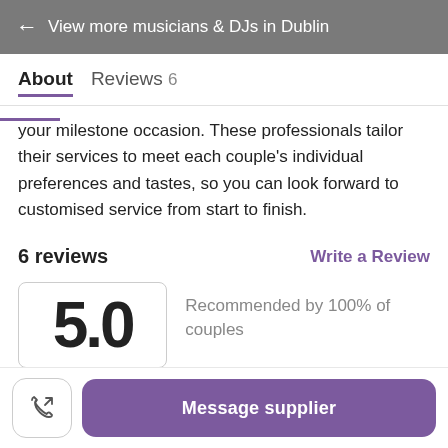← View more musicians & DJs in Dublin
About   Reviews 6
your milestone occasion. These professionals tailor their services to meet each couple's individual preferences and tastes, so you can look forward to customised service from start to finish.
6 reviews
Write a Review
Recommended by 100% of couples
5.0
Message supplier